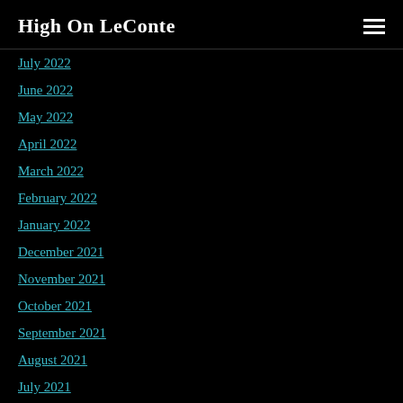High On LeConte
July 2022
June 2022
May 2022
April 2022
March 2022
February 2022
January 2022
December 2021
November 2021
October 2021
September 2021
August 2021
July 2021
June 2021
May 2021
April 2021